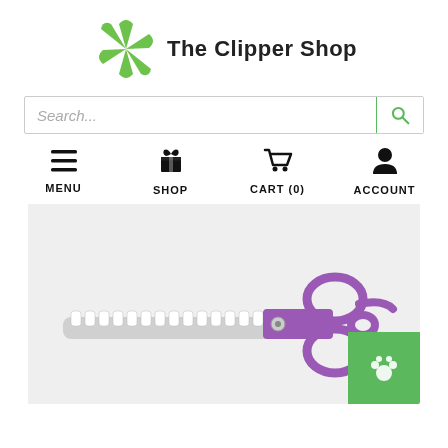[Figure (logo): The Clipper Shop logo: green pinwheel/fan icon with text 'The Clipper Shop' in bold]
[Figure (screenshot): Search bar with placeholder text 'Search...' and green search icon button on right]
[Figure (infographic): Navigation bar with four icons and labels: MENU (hamburger), SHOP (gift box), CART (0) (shopping cart), ACCOUNT (person)]
[Figure (photo): Purple grooming/thinning scissors with serrated blade on light grey background, with green paw print button in bottom-right corner]